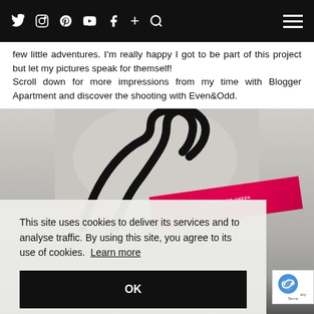Twitter Instagram Pinterest YouTube Facebook + Search [Menu]
few little adventures. I'm really happy I got to be part of this project but let my pictures speak for themself!
Scroll down for more impressions from my time with Blogger Apartment and discover the shooting with Even&Odd.
[Figure (photo): Overhead photo of a black leather bag handle/strap on white fabric, with a pink magazine strip reading 'SCHMUCKUND UHREN' partially visible, and cosmetics items visible at the bottom.]
This site uses cookies to deliver its services and to analyse traffic. By using this site, you agree to its use of cookies. Learn more
OK